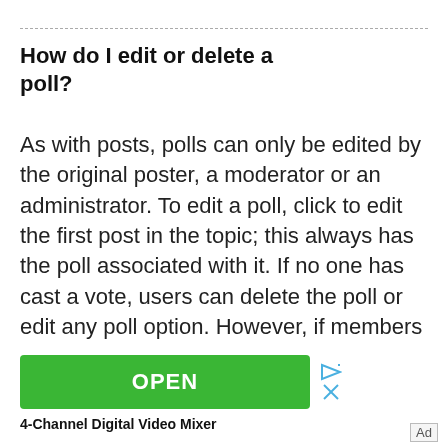How do I edit or delete a poll?
As with posts, polls can only be edited by the original poster, a moderator or an administrator. To edit a poll, click to edit the first post in the topic; this always has the poll associated with it. If no one has cast a vote, users can delete the poll or edit any poll option. However, if members
[Figure (other): Green OPEN button advertisement for 4-Channel Digital Video Mixer with ad controls (play/close icons)]
4-Channel Digital Video Mixer
Ad